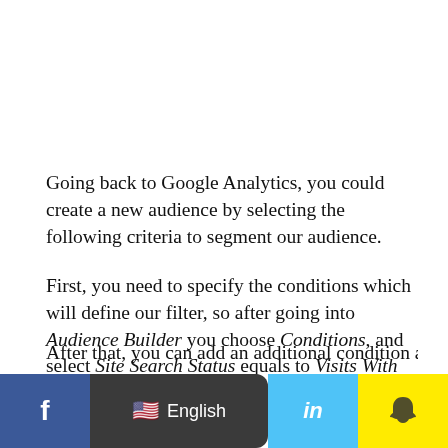Going back to Google Analytics, you could create a new audience by selecting the following criteria to segment our audience.
First, you need to specify the conditions which will define our filter, so after going into Audience Builder you choose Conditions, and select Site Search Status equals to Visits With Site Search.
After that, you can add an additional condition and...
[Figure (screenshot): Social media sharing toolbar at the bottom with Facebook (blue), English language selector (dark), LinkedIn (light blue), Snapchat (yellow), Pinterest (red), and Share (green) buttons.]